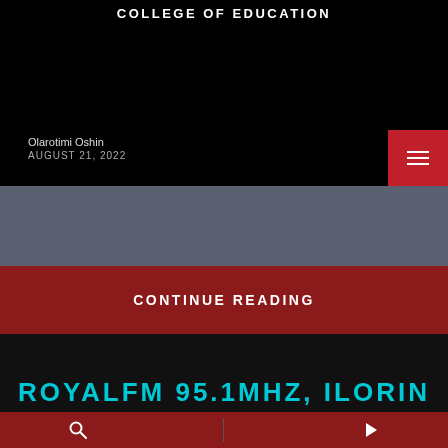[Figure (screenshot): Black background image block with 'COLLEGE OF EDUCATION' text at top]
COLLEGE OF EDUCATION
Olarotimi Oshin
AUGUST 21, 2022
CONTINUE READING
[Figure (screenshot): Dark block with 'ROYALFM 95.1MHZ, ILORIN' text in cyan/teal color]
ROYALFM 95.1MHZ, ILORIN